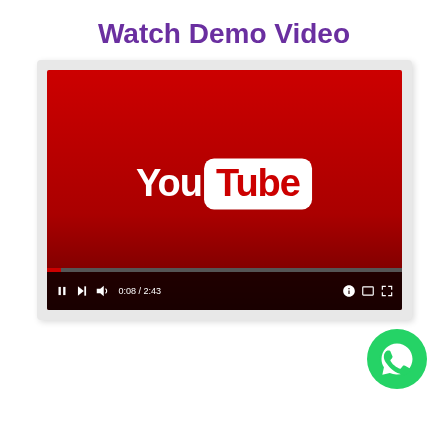Watch Demo Video
[Figure (screenshot): YouTube video player screenshot showing a paused YouTube video with the YouTube logo on a red background. Controls show pause button, skip button, volume, time 0:08/2:43, and fullscreen controls.]
[Figure (logo): WhatsApp chat button icon — green circle with white phone/chat bubble logo, positioned at bottom right.]